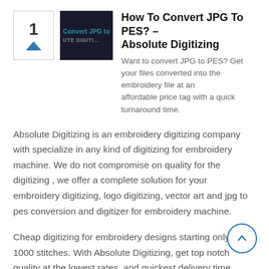How To Convert JPG To PES? – Absolute Digitizing
Want to convert JPG to PES? Get your files converted into the embroidery file at an affordable price tag with a quick turnaround time.
Absolute Digitizing is an embroidery digitizing company with specialize in any kind of digitizing for embroidery machine. We do not compromise on quality for the digitizing , we offer a complete solution for your embroidery digitizing, logo digitizing, vector art and jpg to pes conversion and digitizer for embroidery machine.
Cheap digitizing for embroidery designs starting only at $1/ 1000 stitches. With Absolute Digitizing, get top notch quality at the lowest rates, and quickest delivery time. Outsourcing digitizing has never been this quick, easy and cheap. We also render vector art services starting at $5.